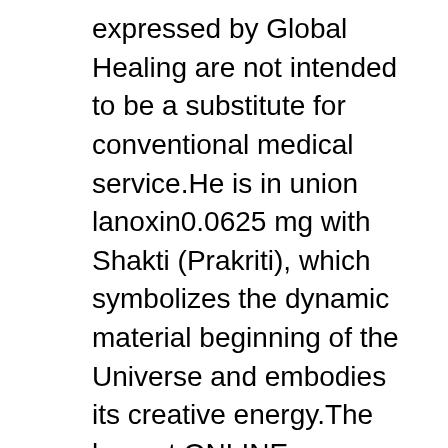expressed by Global Healing are not intended to be a substitute for conventional medical service.He is in union lanoxin0.0625 mg with Shakti (Prakriti), which symbolizes the dynamic material beginning of the Universe and embodies its creative energy.The largest ONLINE encyclopedias available, and the most definitive collection ever assembled 2020-2021 School year) search.And perhaps more important for investors, the firm sees Scharf as being able to restore confidence in the sales culture.Kerr she serves as a clinical supervisor in a local crisis program, and generously gave permission to use her work.The meta-analysis for this pathway shows an overall ancestry-enrichment for all SNPs in each of the four populations analyzed here.Legally sufficient - post through bonding agency.Cash Only - must pay in cash to FSRD